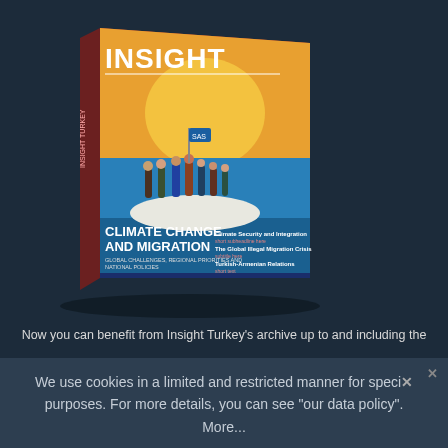[Figure (photo): 3D rendered magazine cover titled INSIGHT with headline CLIMATE CHANGE AND MIGRATION, featuring an illustration of people on a raft under a sun on a blue sea]
Now you can benefit from Insight Turkey's archive up to and including the
We use cookies in a limited and restricted manner for specific purposes. For more details, you can see "our data policy". More...